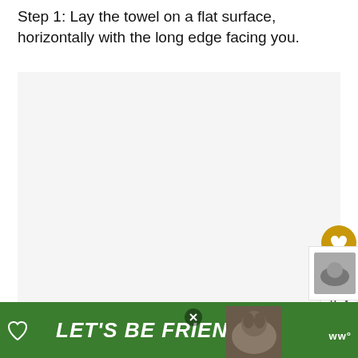Step 1: Lay the towel on a flat surface, horizontally with the long edge facing you.
[Figure (photo): Large light gray rectangular image placeholder area showing a towel folding step]
[Figure (screenshot): UI overlay: golden heart like button, count of 2, share button, and a 'WHAT'S NEXT' panel showing 'Are Towels Considered...' with a thumbnail]
[Figure (screenshot): Advertisement banner: green background with 'LET'S BE FRIENDS' text, a dog image, heart icon, close button, and Wikihow logo]